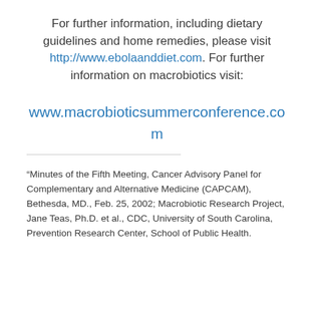For further information, including dietary guidelines and home remedies, please visit http://www.ebolaanddiet.com. For further information on macrobiotics visit: www.macrobioticsummerconference.com
“Minutes of the Fifth Meeting, Cancer Advisory Panel for Complementary and Alternative Medicine (CAPCAM), Bethesda, MD., Feb. 25, 2002; Macrobiotic Research Project, Jane Teas, Ph.D. et al., CDC, University of South Carolina, Prevention Research Center, School of Public Health.